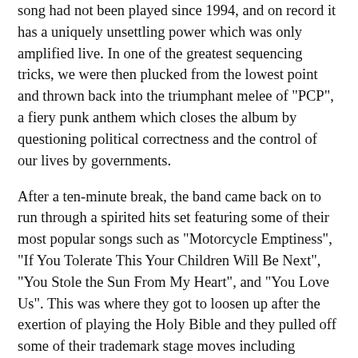song had not been played since 1994, and on record it has a uniquely unsettling power which was only amplified live. In one of the greatest sequencing tricks, we were then plucked from the lowest point and thrown back into the triumphant melee of "PCP", a fiery punk anthem which closes the album by questioning political correctness and the control of our lives by governments.
After a ten-minute break, the band came back on to run through a spirited hits set featuring some of their most popular songs such as "Motorcycle Emptiness", "If You Tolerate This Your Children Will Be Next", "You Stole the Sun From My Heart", and "You Love Us". This was where they got to loosen up after the exertion of playing the Holy Bible and they pulled off some of their trademark stage moves including James's spins and bassist Nicky's scissor kicks. Despite the fairly predictable nature of the set, they still pulled out a couple of surprises, including the first ever live showing of the rifftastic "Condemned to Rock 'n' Roll", which closed their 1992 debut album Generation Terrorists. The night finished on a stirring rendition of "A Design For Life", the working-class anthem which relaunched them following the loss of their childhood friend, Richey.